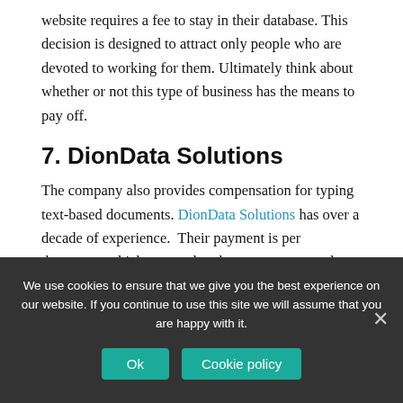website requires a fee to stay in their database. This decision is designed to attract only people who are devoted to working for them. Ultimately think about whether or not this type of business has the means to pay off.
7. DionData Solutions
The company also provides compensation for typing text-based documents. DionData Solutions has over a decade of experience. Their payment is per document, which means that the more you type the more you earn.
We use cookies to ensure that we give you the best experience on our website. If you continue to use this site we will assume that you are happy with it.